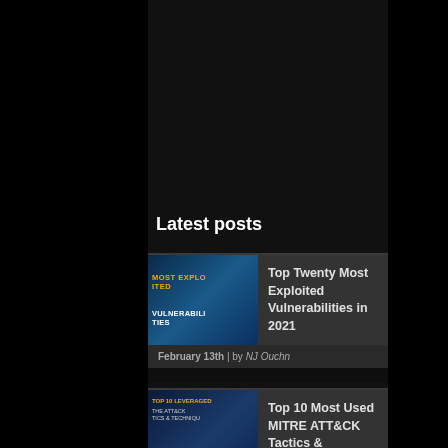Latest posts
Top Twenty Most Exploited Vulnerabilities in 2021 — February 13th | by NJ Ouchn
Top 10 Most Used MITRE ATT&CK Tactics & Techniques In 2020 — February 11th | by NJ Ouchn
(partial third post)